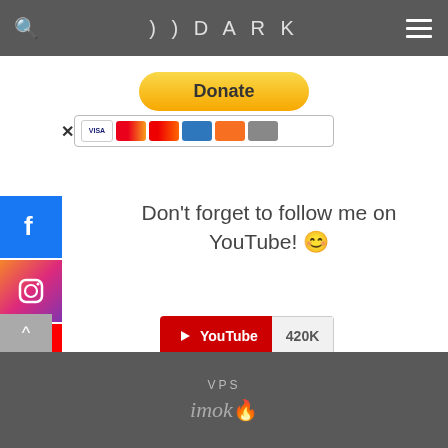DJDARK
[Figure (screenshot): PayPal Donate button with payment card icons (Visa, Mastercard, Amex, Discover) and a close X button]
[Figure (infographic): Social media sidebar icons: Facebook (blue), Instagram (gradient), YouTube (red), SoundCloud (orange)]
Don't forget to follow me on YouTube! 😀
[Figure (screenshot): YouTube subscribe button showing 420K subscribers]
VPS imoko